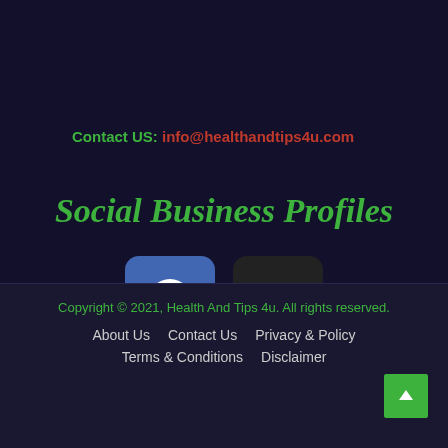Contact US: info@healthandtips4u.com
Social Business Profiles
[Figure (logo): Facebook and Instagram social media icons]
Copyright © 2021, Health And Tips 4u. All rights reserved.
About Us   Contact Us   Privacy & Policy   Terms & Conditions   Disclaimer